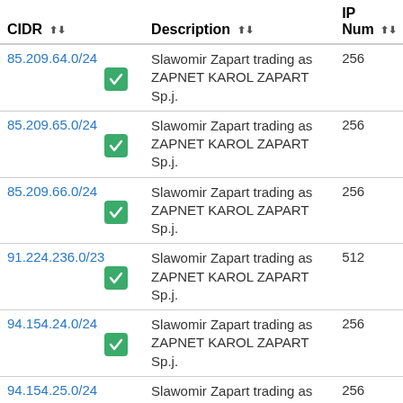| CIDR | Description | IP Num |
| --- | --- | --- |
| 85.209.64.0/24 | Slawomir Zapart trading as ZAPNET KAROL ZAPART Sp.j. | 256 |
| 85.209.65.0/24 | Slawomir Zapart trading as ZAPNET KAROL ZAPART Sp.j. | 256 |
| 85.209.66.0/24 | Slawomir Zapart trading as ZAPNET KAROL ZAPART Sp.j. | 256 |
| 91.224.236.0/23 | Slawomir Zapart trading as ZAPNET KAROL ZAPART Sp.j. | 512 |
| 94.154.24.0/24 | Slawomir Zapart trading as ZAPNET KAROL ZAPART Sp.j. | 256 |
| 94.154.25.0/24 | Slawomir Zapart trading as | 256 |